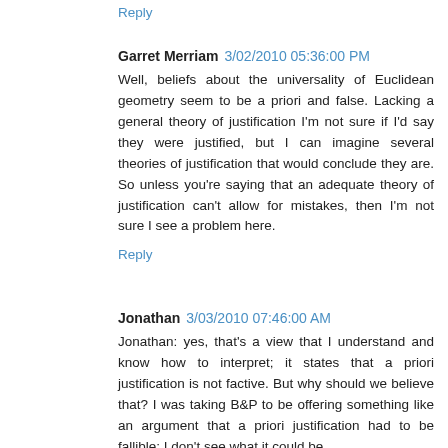Reply
Garret Merriam 3/02/2010 05:36:00 PM
Well, beliefs about the universality of Euclidean geometry seem to be a priori and false. Lacking a general theory of justification I'm not sure if I'd say they were justified, but I can imagine several theories of justification that would conclude they are. So unless you're saying that an adequate theory of justification can't allow for mistakes, then I'm not sure I see a problem here.
Reply
Jonathan 3/03/2010 07:46:00 AM
Jonathan: yes, that's a view that I understand and know how to interpret; it states that a priori justification is not factive. But why should we believe that? I was taking B&P to be offering something like an argument that a priori justification had to be fallible; I don't see what it could be.